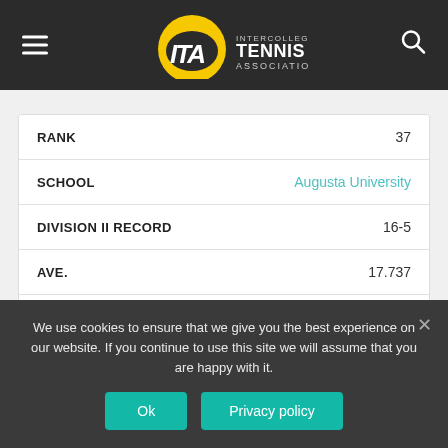ITA Intercollegiate Tennis Association
| Field | Value |
| --- | --- |
| RANK | 37 |
| SCHOOL | Augusta University |
| DIVISION II RECORD | 16-5 |
| AVE. | 17.737 |
| PREV. | 42 |
| Field | Value |
| --- | --- |
| RANK | 38 |
We use cookies to ensure that we give you the best experience on our website. If you continue to use this site we will assume that you are happy with it.